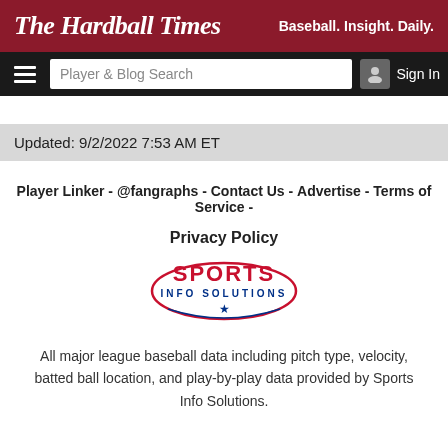The Hardball Times — Baseball. Insight. Daily.
Player & Blog Search | Sign In
Updated: 9/2/2022 7:53 AM ET
Player Linker - @fangraphs - Contact Us - Advertise - Terms of Service -
Privacy Policy
[Figure (logo): Sports Info Solutions logo — red and blue text with a star]
All major league baseball data including pitch type, velocity, batted ball location, and play-by-play data provided by Sports Info Solutions.